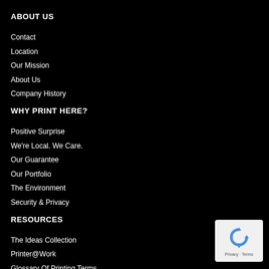ABOUT US
Contact
Location
Our Mission
About Us
Company History
WHY PRINT HERE?
Positive Surprise
We're Local. We Care.
Our Guarantee
Our Portfolio
The Environment
Security & Privacy
RESOURCES
The Ideas Collection
Printer@Work
Glossary Of Printing Terms
What's New
[Figure (logo): reCAPTCHA logo with Privacy and Terms text]